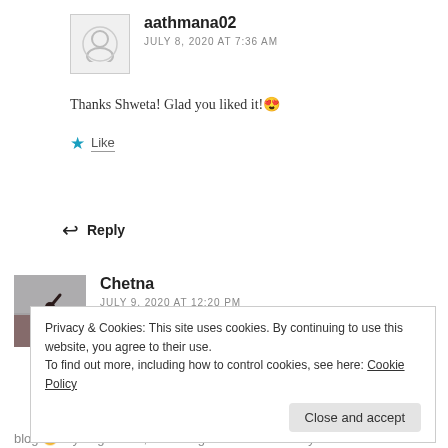[Figure (other): Default user avatar icon in a square border]
aathmana02
JULY 8, 2020 AT 7:36 AM
Thanks Shweta! Glad you liked it! 😍
★ Like
↩ Reply
[Figure (photo): Photo of Chetna (silhouette of person with raised arm against sky)]
Chetna
JULY 9, 2020 AT 12:20 PM
Privacy & Cookies: This site uses cookies. By continuing to use this website, you agree to their use.
To find out more, including how to control cookies, see here: Cookie Policy
Close and accept
blog 😅 If you get time, then do give them a read if you